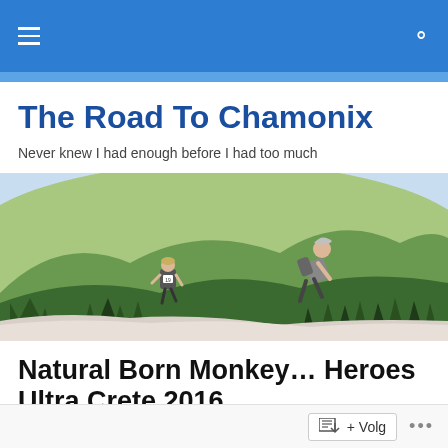The Road To Chamonix — navigation header with menu and search icons
The Road To Chamonix
Never knew I had enough before I had too much
[Figure (photo): Two trail runners in a mountainous landscape with green hills, forests and a valley in the background, running on a snowy or rocky ridge]
Natural Born Monkey… Heroes Ultra Crete 2016
Geplaatst door Sander Boom
Volg ...